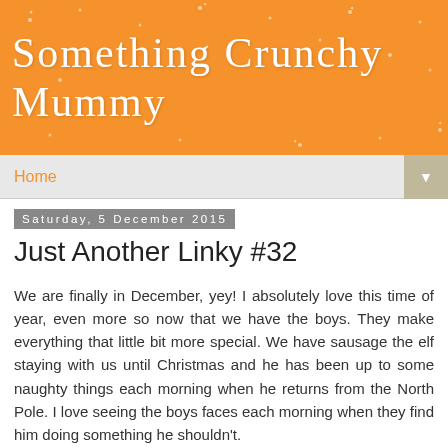[Figure (logo): Orange banner header with white decorative title text reading 'Something Crunchy Mummy' with sparkle/star decorations on orange background]
Home
Saturday, 5 December 2015
Just Another Linky #32
We are finally in December, yey! I absolutely love this time of year, even more so now that we have the boys. They make everything that little bit more special. We have sausage the elf staying with us until Christmas and he has been up to some naughty things each morning when he returns from the North Pole. I love seeing the boys faces each morning when they find him doing something he shouldn't.
So here is to Christmas, the most wonderful time of year!